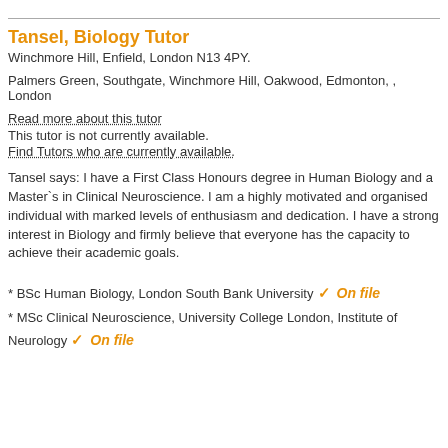Tansel, Biology Tutor
Winchmore Hill, Enfield, London N13 4PY.
Palmers Green, Southgate, Winchmore Hill, Oakwood, Edmonton, , London
Read more about this tutor
This tutor is not currently available.
Find Tutors who are currently available.
Tansel says: I have a First Class Honours degree in Human Biology and a Master`s in Clinical Neuroscience. I am a highly motivated and organised individual with marked levels of enthusiasm and dedication. I have a strong interest in Biology and firmly believe that everyone has the capacity to achieve their academic goals.
* BSc Human Biology, London South Bank University ✓ On file
* MSc Clinical Neuroscience, University College London, Institute of Neurology ✓ On file